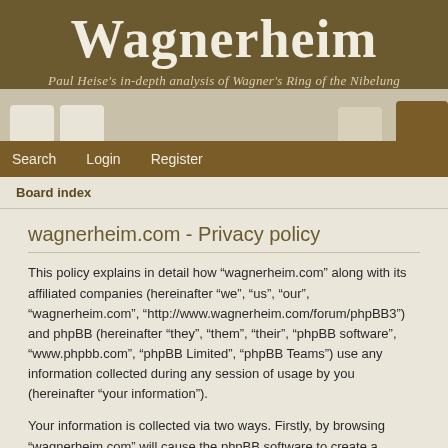Wagnerheim
Paul Heise's in-depth analysis of Wagner's Ring of the Nibelung
Search   Login   Register
Board index
wagnerheim.com - Privacy policy
This policy explains in detail how “wagnerheim.com” along with its affiliated companies (hereinafter “we”, “us”, “our”, “wagnerheim.com”, “http://www.wagnerheim.com/forum/phpBB3”) and phpBB (hereinafter “they”, “them”, “their”, “phpBB software”, “www.phpbb.com”, “phpBB Limited”, “phpBB Teams”) use any information collected during any session of usage by you (hereinafter “your information”).
Your information is collected via two ways. Firstly, by browsing “wagnerheim.com” will cause the phpBB software to create a number of